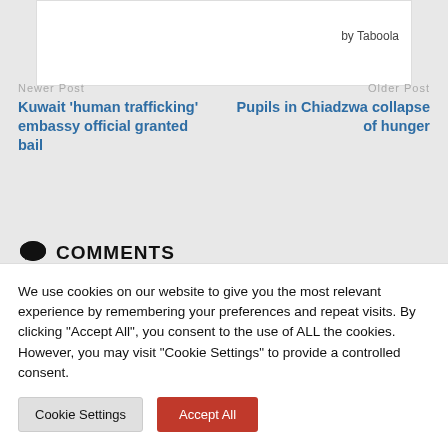by Taboola
Newer Post
Kuwait ‘human trafficking’ embassy official granted bail
Older Post
Pupils in Chiadzwa collapse of hunger
COMMENTS
WORDPRESS: 2
We use cookies on our website to give you the most relevant experience by remembering your preferences and repeat visits. By clicking “Accept All”, you consent to the use of ALL the cookies. However, you may visit "Cookie Settings" to provide a controlled consent.
Cookie Settings
Accept All